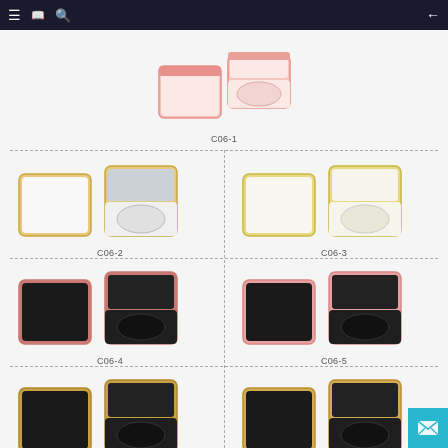[Figure (photo): Navigation bar with hamburger menu, book icon, search icon, and back arrow on dark navy background]
[Figure (photo): Cosmetic compact powder case C06-1, pink/rose gold trim, shown closed and open, white/light interior]
C06-1
[Figure (photo): Cosmetic compact powder case C06-2, white with gold trim, shown closed and open with mirror]
C06-2
[Figure (photo): Cosmetic compact powder case C06-3, light yellow/gold trim, shown closed and open]
C06-3
[Figure (photo): Cosmetic compact powder case C06-4, black with rose gold trim, shown closed and open]
C06-4
[Figure (photo): Cosmetic compact powder case C06-5, black with pink trim, shown closed and open]
C06-5
[Figure (photo): Cosmetic compact powder case C06-6, black with gold trim, shown closed and open]
C06-6
[Figure (photo): Cosmetic compact powder case C06-7, black with gold trim, shown closed and open]
C06-7